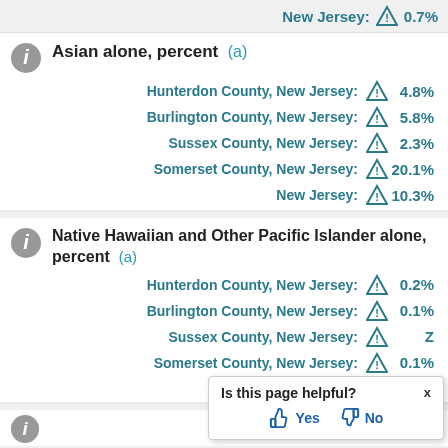New Jersey: 0.7%
Asian alone, percent (a)
Hunterdon County, New Jersey: 4.8%
Burlington County, New Jersey: 5.8%
Sussex County, New Jersey: 2.3%
Somerset County, New Jersey: 20.1%
New Jersey: 10.3%
Native Hawaiian and Other Pacific Islander alone, percent (a)
Hunterdon County, New Jersey: 0.2%
Burlington County, New Jersey: 0.1%
Sussex County, New Jersey: Z
Somerset County, New Jersey: 0.1%
New Jersey: (partially visible)
Is this page helpful? Yes No